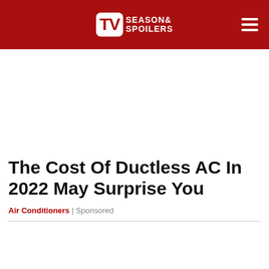TV Season & Spoilers
The Cost Of Ductless AC In 2022 May Surprise You
Air Conditioners | Sponsored